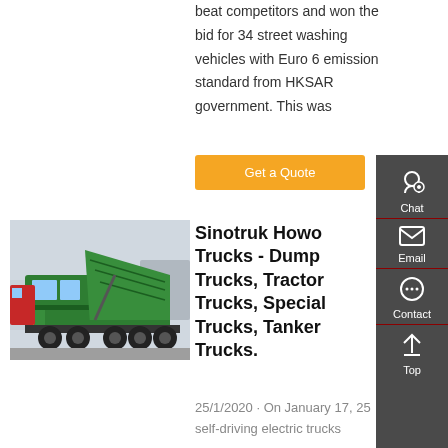beat competitors and won the bid for 34 street washing vehicles with Euro 6 emission standard from HKSAR government. This was
Get a Quote
[Figure (photo): Green Sinotruk Howo dump truck with raised bed, 8-wheel heavy duty truck]
Sinotruk Howo Trucks - Dump Trucks, Tractor Trucks, Special Trucks, Tanker Trucks.
25/1/2020 · On January 17, 25 self-driving electric trucks